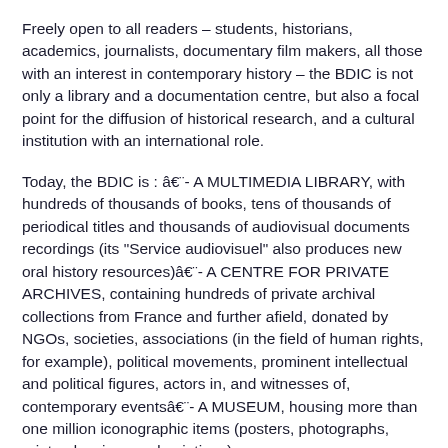Freely open to all readers – students, historians, academics, journalists, documentary film makers, all those with an interest in contemporary history – the BDIC is not only a library and a documentation centre, but also a focal point for the diffusion of historical research, and a cultural institution with an international role.
Today, the BDIC is : â€¨- A MULTIMEDIA LIBRARY, with hundreds of thousands of books, tens of thousands of periodical titles and thousands of audiovisual documents recordings (its "Service audiovisuel" also produces new oral history resources)â€¨- A CENTRE FOR PRIVATE ARCHIVES, containing hundreds of private archival collections from France and further afield, donated by NGOs, societies, associations (in the field of human rights, for example), political movements, prominent intellectual and political figures, actors in, and witnesses of, contemporary eventsâ€¨- A MUSEUM, housing more than one million iconographic items (posters, photographs, prints, drawings and paintings).
Established in 1918, the BDIC Library is attached to Université Paris Ouest Nanterre La Défense